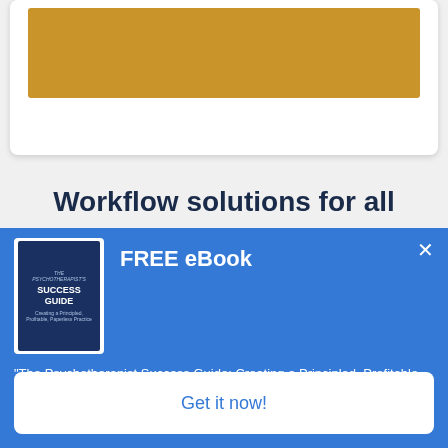[Figure (illustration): A white card with a gold/amber colored rectangular banner inside it, partially visible at the top of the page.]
Workflow solutions for all
[Figure (screenshot): A blue popup overlay containing a FREE eBook promotional banner. It shows a book cover for 'The Psychotherapist Success Guide' on the left, 'FREE eBook' title text, a description of the book, and a 'Get it now!' call-to-action button. There is an X close button in the top right corner.]
"The Psychotherapist Success Guide: Creating a Principled, Profitable, Paperless Practice.", by Dr. Bill Whitehead Ph.D. and Denise Hoyt, M.MFT, LMFT, LD.